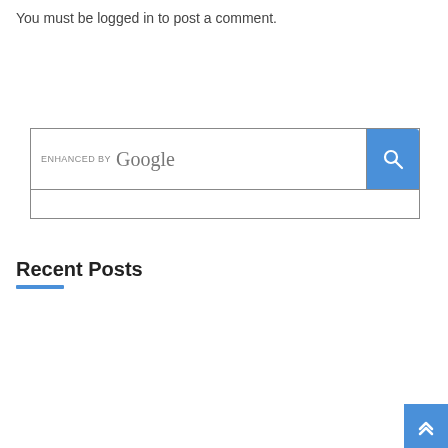You must be logged in to post a comment.
[Figure (screenshot): Google enhanced search widget with a search input box and blue search button with magnifying glass icon]
Recent Posts
[Figure (other): Blue scroll-to-top button with double chevron up arrow in bottom right corner]